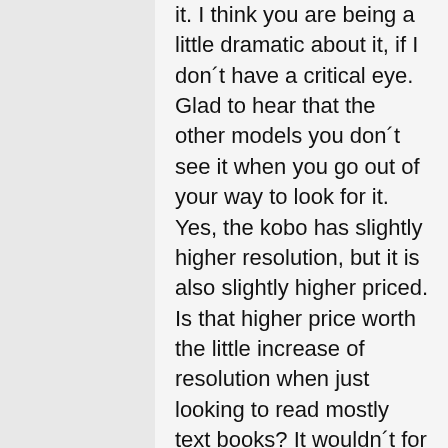it. I think you are being a little dramatic about it, if I don´t have a critical eye. Glad to hear that the other models you don´t see it when you go out of your way to look for it. Yes, the kobo has slightly higher resolution, but it is also slightly higher priced. Is that higher price worth the little increase of resolution when just looking to read mostly text books? It wouldn´t for me. I would want more features. Form What I can tell, the Kindle Basic offers more functionality at its rock bottom price compared to the Kobo lowest priced model. For what you end up paying for